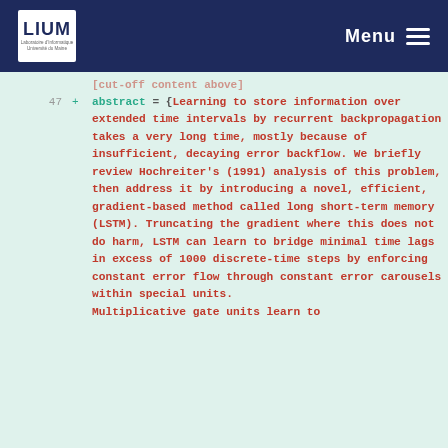LIUM Menu
47  +  abstract = {Learning to store information over extended time intervals by recurrent backpropagation takes a very long time, mostly because of insufficient, decaying error backflow. We briefly review Hochreiter's (1991) analysis of this problem, then address it by introducing a novel, efficient, gradient-based method called long short-term memory (LSTM). Truncating the gradient where this does not do harm, LSTM can learn to bridge minimal time lags in excess of 1000 discrete-time steps by enforcing constant error flow through constant error carousels within special units. Multiplicative gate units learn to